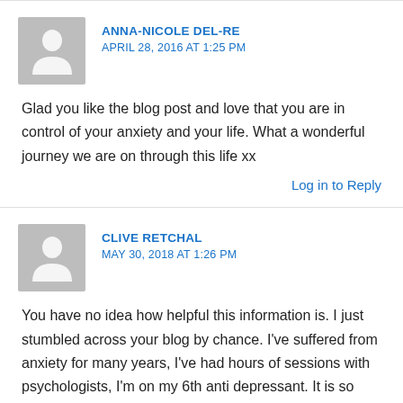ANNA-NICOLE DEL-RE
APRIL 28, 2016 AT 1:25 PM
Glad you like the blog post and love that you are in control of your anxiety and your life. What a wonderful journey we are on through this life xx
Log in to Reply
CLIVE RETCHAL
MAY 30, 2018 AT 1:26 PM
You have no idea how helpful this information is. I just stumbled across your blog by chance. I've suffered from anxiety for many years, I've had hours of sessions with psychologists, I'm on my 6th anti depressant. It is so difficult explaining this to someone who has no idea of what it means